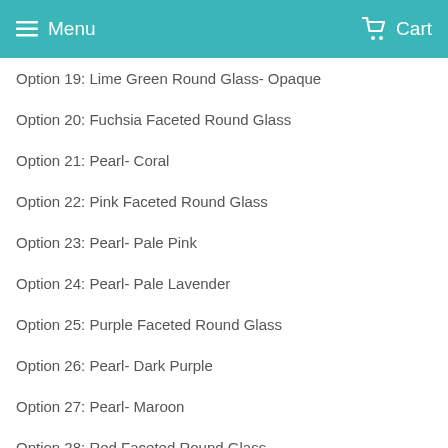Menu  Cart
Option 19: Lime Green Round Glass- Opaque
Option 20: Fuchsia Faceted Round Glass
Option 21: Pearl- Coral
Option 22: Pink Faceted Round Glass
Option 23: Pearl- Pale Pink
Option 24: Pearl- Pale Lavender
Option 25: Purple Faceted Round Glass
Option 26: Pearl- Dark Purple
Option 27: Pearl- Maroon
Option 28: Red Faceted Round Glass
Option 29: Orange Faceted Round Glass